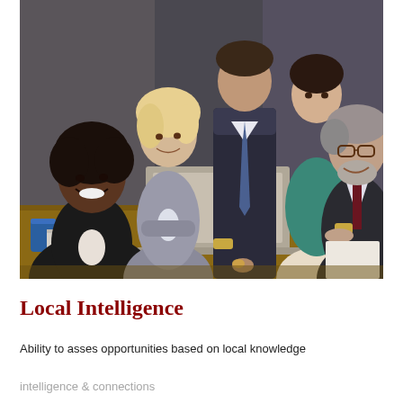[Figure (photo): Group of five business professionals gathered around a table with a laptop. A smiling Black woman in a dark blazer sits at the front-left; a blonde woman in a gray suit stands behind her with arms crossed; a tall man in a suit with a tie stands in the center background; a woman in a teal top stands at the upper right; and an older man with glasses and a dark suit leans in from the right, smiling. The scene is set in a modern office.]
Local Intelligence
Ability to asses opportunities based on local knowledge